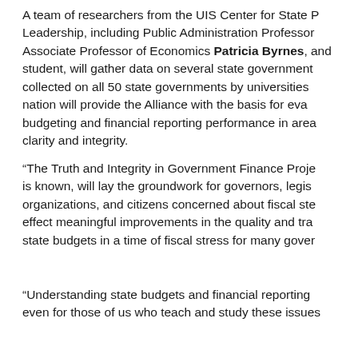A team of researchers from the UIS Center for State Policy and Leadership, including Public Administration Professor [name], Associate Professor of Economics Patricia Byrnes, and [a doctoral] student, will gather data on several state governments. Data collected on all 50 state governments by universities across the nation will provide the Alliance with the basis for evaluating budgeting and financial reporting performance in areas such as clarity and integrity.
“The Truth and Integrity in Government Finance Project,” as it is known, will lay the groundwork for governors, legislators, organizations, and citizens concerned about fiscal stewardship to effect meaningful improvements in the quality and transparency of state budgets in a time of fiscal stress for many governments.
“Understanding state budgets and financial reporting is challenging even for those of us who teach and study these issues.